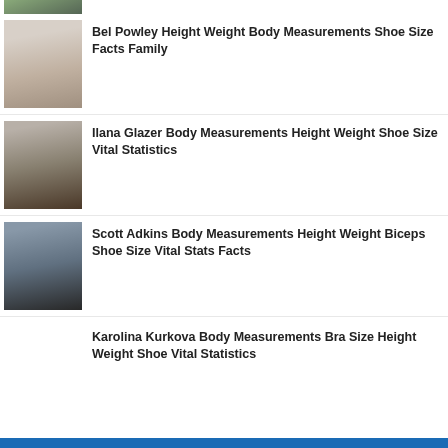[Figure (photo): Partial thumbnail at top of page, cropped]
Bel Powley Height Weight Body Measurements Shoe Size Facts Family
Ilana Glazer Body Measurements Height Weight Shoe Size Vital Statistics
Scott Adkins Body Measurements Height Weight Biceps Shoe Size Vital Stats Facts
Karolina Kurkova Body Measurements Bra Size Height Weight Shoe Vital Statistics